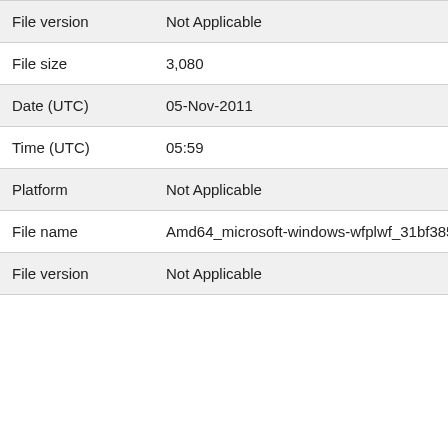| Field | Value |
| --- | --- |
| File version | Not Applicable |
| File size | 3,080 |
| Date (UTC) | 05-Nov-2011 |
| Time (UTC) | 05:59 |
| Platform | Not Applicable |
| File name | Amd64_microsoft-windows-wfplwf_31bf3856ad364e35_ |
| File version | Not Applicable |